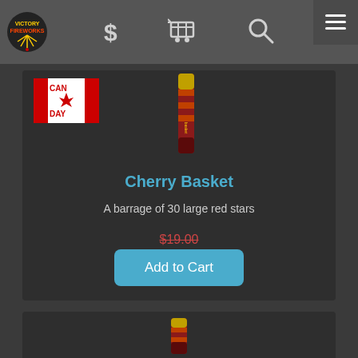Victory Fireworks navigation bar with logo, dollar sign, cart, search icons, and hamburger menu
[Figure (screenshot): Canada Day badge with Canadian flag and CAN DAY text]
[Figure (photo): Cherry Basket firework product tube image]
Cherry Basket
A barrage of 30 large red stars
$19.00 (strikethrough original price)
$14.25
Add to Cart
[Figure (photo): Partial second product card with firework product image at bottom]